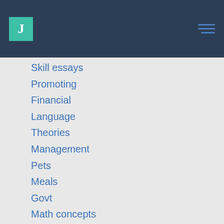J
Skill essays
Promoting
Financial
Language
Theories
Management
Pets
Meals
Govt
Math concepts
The english language
Mindset
Philosophy
Style and vogue
Hypotheses
Food
Social problems
Scientific research